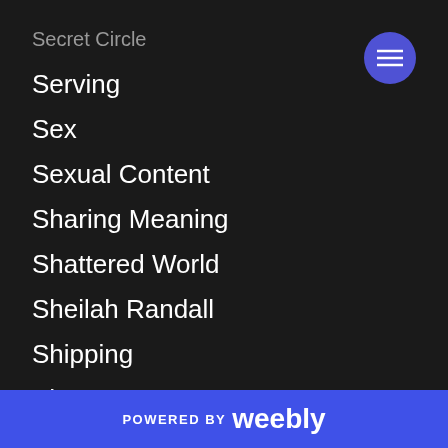Secret Circle
Serving
Sex
Sexual Content
Sharing Meaning
Shattered World
Sheilah Randall
Shipping
Short Story
Sir Edwin Arnold
Siren Publishing
POWERED BY weebly